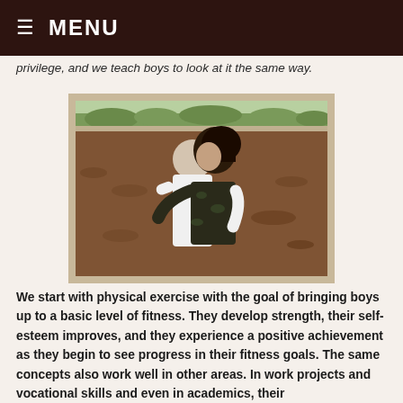≡ MENU
privilege, and we teach boys to look at it the same way.
[Figure (photo): Two people hugging outdoors in a field with brown soil and green trees in the background. One person wearing a white t-shirt, the other in a dark patterned top with dark hair.]
We start with physical exercise with the goal of bringing boys up to a basic level of fitness. They develop strength, their self-esteem improves, and they experience a positive achievement as they begin to see progress in their fitness goals. The same concepts also work well in other areas. In work projects and vocational skills and even in academics, their accomplishments bolster confidence so that boys are built up. Meanwhile, we help boys comprehend the consequences of